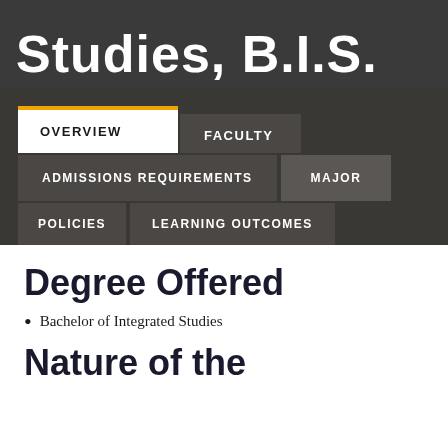Studies, B.I.S.
OVERVIEW
FACULTY
ADMISSIONS REQUIREMENTS
MAJOR
POLICIES
LEARNING OUTCOMES
Degree Offered
Bachelor of Integrated Studies
Nature of the